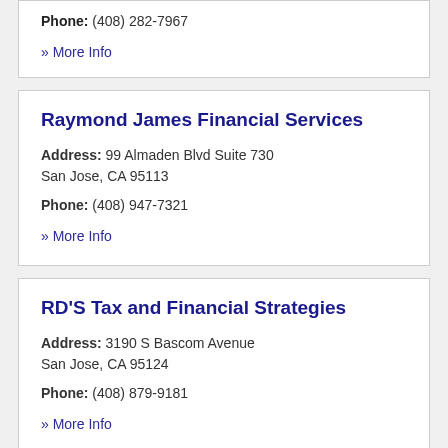Phone: (408) 282-7967
» More Info
Raymond James Financial Services
Address: 99 Almaden Blvd Suite 730 San Jose, CA 95113
Phone: (408) 947-7321
» More Info
RD'S Tax and Financial Strategies
Address: 3190 S Bascom Avenue San Jose, CA 95124
Phone: (408) 879-9181
» More Info